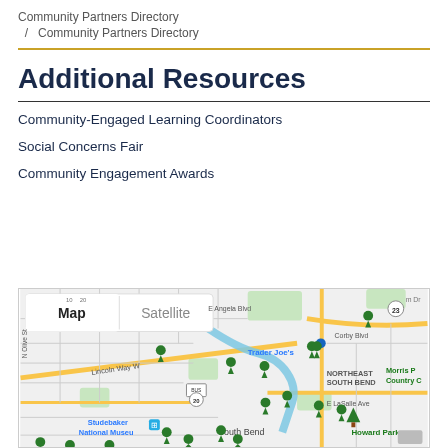Community Partners Directory / Community Partners Directory
Additional Resources
Community-Engaged Learning Coordinators
Social Concerns Fair
Community Engagement Awards
[Figure (map): Google Map showing South Bend, Indiana area with multiple green location pin markers and labels including Trader Joe's, Northeast South Bend, Howard Park, Studebaker National Museum, Morris Country Club, Lincoln Way W, Corby Blvd, E Angela Blvd, E LaSalle Ave, N Olive St. Map/Satellite toggle visible at top left.]